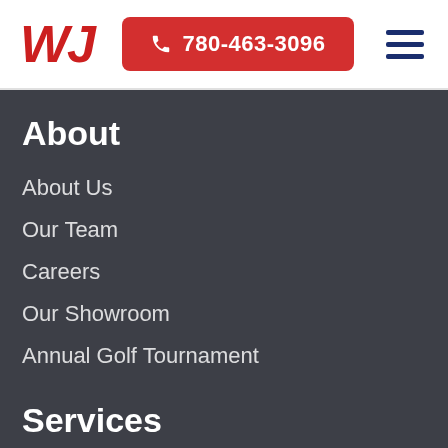[Figure (logo): WJ logo in red italic bold text]
[Figure (infographic): Red button with phone icon and number 780-463-3096]
[Figure (infographic): Hamburger menu icon with three horizontal navy blue lines]
About
About Us
Our Team
Careers
Our Showroom
Annual Golf Tournament
Services
Heating
Cooling